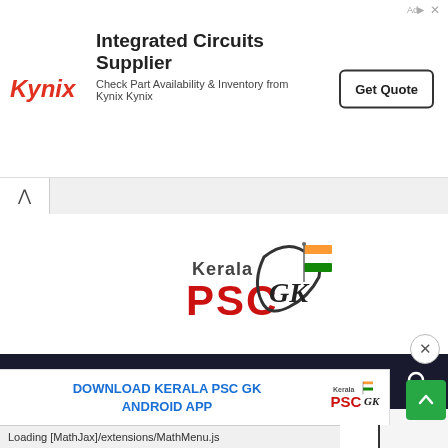[Figure (screenshot): Kynix advertisement banner: Integrated Circuits Supplier with Get Quote button]
[Figure (logo): Kerala PSC GK logo with Indian flag]
[Figure (screenshot): Dark navigation bar with hamburger menu and search icon]
[Figure (screenshot): Download and Mock Test card buttons]
DOWNLOAD KERALA PSC GK ANDROID APP
Loading [MathJax]/extensions/MathMenu.js